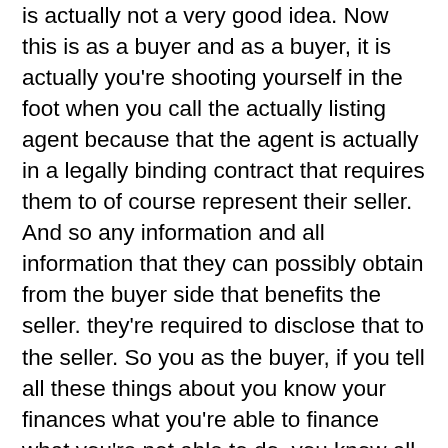is actually not a very good idea. Now this is as a buyer and as a buyer, it is actually you're shooting yourself in the foot when you call the actually listing agent because that the agent is actually in a legally binding contract that requires them to of course represent their seller. And so any information and all information that they can possibly obtain from the buyer side that benefits the seller. they're required to disclose that to the seller. So you as the buyer, if you tell all these things about you know your finances what you're able to finance what you're not able to do, you know all these things, anything and everything they're required to tell the seller this. So again, I feel like you would be you would be making a foolish move as a buyer to actually to contact the listing agent, because like I said, they're in a binding contract with that seller to tell them everything that